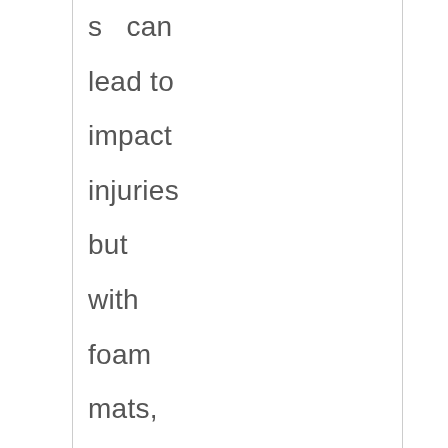s can lead to impact injuries but with foam mats, these injuries can be prevented. The main benefit of these jigsaw mats is